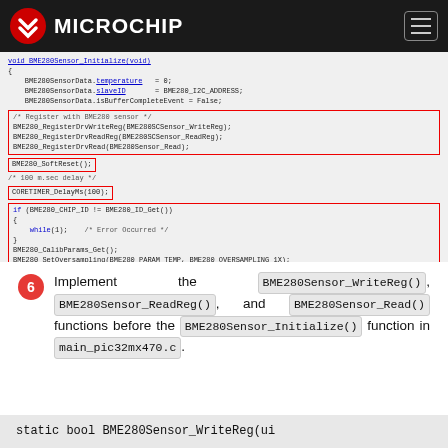Microchip
[Figure (screenshot): Code screenshot showing BME280Sensor_Initialize function body with highlighted sections in red boxes]
6 Implement the BME280Sensor_WriteReg(), BME280Sensor_ReadReg(), and BME280Sensor_Read() functions before the BME280Sensor_Initialize() function in main_pic32mx470.c.
static bool BME280Sensor_WriteReg(ui